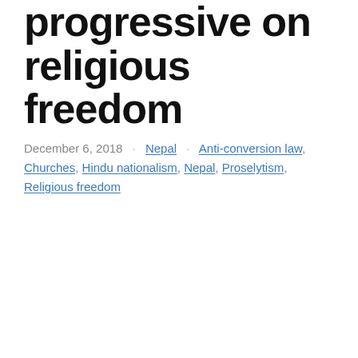progressive on religious freedom
December 6, 2018 · Nepal · Anti-conversion law, Churches, Hindu nationalism, Nepal, Proselytism, Religious freedom